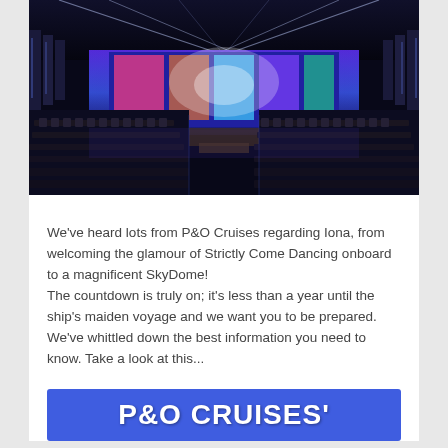[Figure (photo): Interior of a large cruise ship theater/auditorium with rows of seats, a wide stage with colorful blue and purple lighting display, ceiling lighting strips, and ornate wall panels.]
We've heard lots from P&O Cruises regarding Iona, from welcoming the glamour of Strictly Come Dancing onboard to a magnificent SkyDome!
The countdown is truly on; it's less than a year until the ship's maiden voyage and we want you to be prepared.
We've whittled down the best information you need to know. Take a look at this...
[Figure (logo): P&O CRUISES' banner in bold white text on a blue background.]